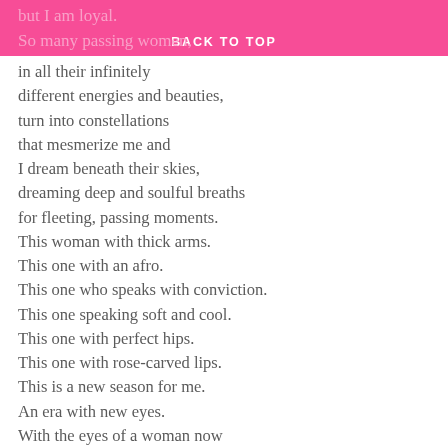but I am loyal.
BACK TO TOP
So many passing women,
in all their infinitely
different energies and beauties,
turn into constellations
that mesmerize me and
I dream beneath their skies,
dreaming deep and soulful breaths
for fleeting, passing moments.
This woman with thick arms.
This one with an afro.
This one who speaks with conviction.
This one speaking soft and cool.
This one with perfect hips.
This one with rose-carved lips.
This is a new season for me.
An era with new eyes.
With the eyes of a woman now
I believe in and lust women